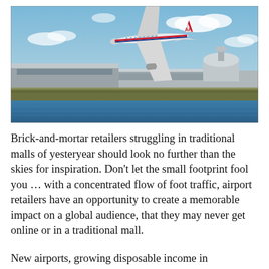[Figure (photo): Photograph of an airplane (American Airlines livery) approaching to land over an airport terminal building, with water and reeds in the foreground and a blue sky with clouds in the background.]
Brick-and-mortar retailers struggling in traditional malls of yesteryear should look no further than the skies for inspiration. Don’t let the small footprint fool you … with a concentrated flow of foot traffic, airport retailers have an opportunity to create a memorable impact on a global audience, that they may never get online or in a traditional mall.
New airports, growing disposable income in